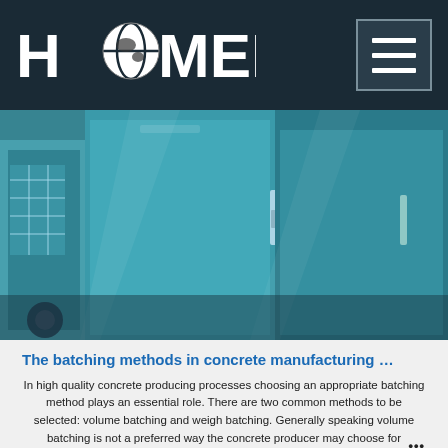HAOMEI
[Figure (photo): Close-up photo of teal/cyan colored industrial concrete batching plant equipment panels and machinery components]
The batching methods in concrete manufacturing …
In high quality concrete producing processes choosing an appropriate batching method plays an essential role. There are two common methods to be selected: volume batching and weigh batching. Generally speaking volume batching is not a preferred way the concrete producer may choose for proportioning the raw materials including Portland cement